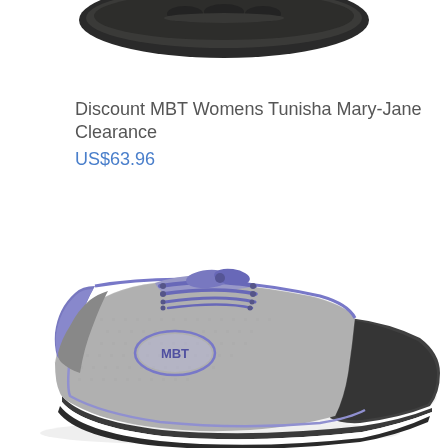[Figure (photo): Top-down view of a dark/black MBT athletic shoe sole, partially visible at top of page]
Discount MBT Womens Tunisha Mary-Jane Clearance
US$63.96
[Figure (photo): MBT Womens athletic sneaker in grey mesh with purple/blue laces and accents, shown from side angle with curved rocker sole, white midsole, and dark toe cap. MBT logo visible on side.]